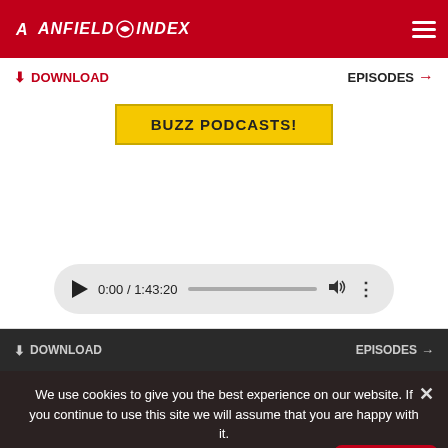ANFIELD INDEX
DOWNLOAD
EPISODES →
BUZZ PODCASTS!
0:00 / 1:43:20
DOWNLOAD
EPISODES →
We use cookies to give you the best experience on our website. If you continue to use this site we will assume that you are happy with it.
OK
ANFIELDINDEX.COM